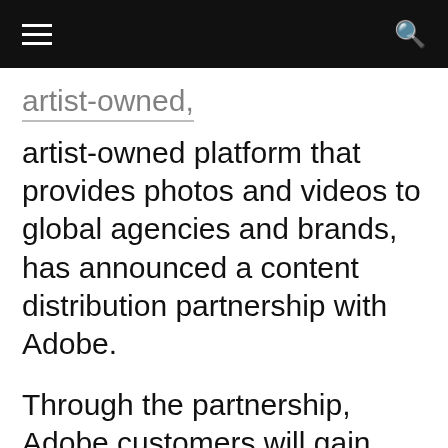Navigation bar with hamburger menu and search icon
artist-owned platform that provides photos and videos to global agencies and brands, has announced a content distribution partnership with Adobe.
Through the partnership, Adobe customers will gain access to Stocksy’s portfolio of photos and videos and in turn, Stocksy’s artists will have the chance to showcase their work to Adobe’s creative network.
Stocksy said the video and photo content is now available through Adobe’s Premium Stock Collection and will also be accessible through Adobe’s Creative Cloud applications like